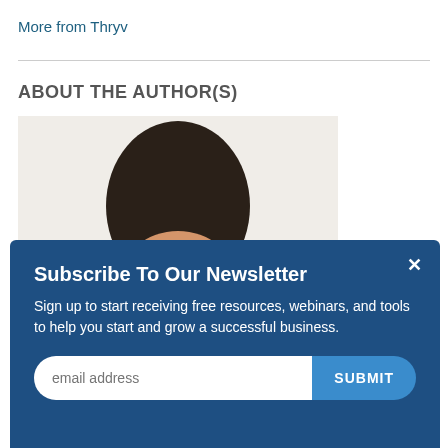More from Thryv
ABOUT THE AUTHOR(S)
[Figure (photo): Author photo showing a woman with dark hair and tan jacket against a light background]
Subscribe To Our Newsletter
Sign up to start receiving free resources, webinars, and tools to help you start and grow a successful business.
email address
SUBMIT